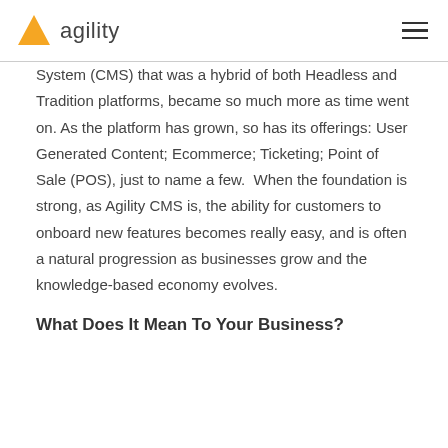agility
System (CMS) that was a hybrid of both Headless and Tradition platforms, became so much more as time went on. As the platform has grown, so has its offerings: User Generated Content; Ecommerce; Ticketing; Point of Sale (POS), just to name a few.  When the foundation is strong, as Agility CMS is, the ability for customers to onboard new features becomes really easy, and is often a natural progression as businesses grow and the knowledge-based economy evolves.
What Does It Mean To Your Business?